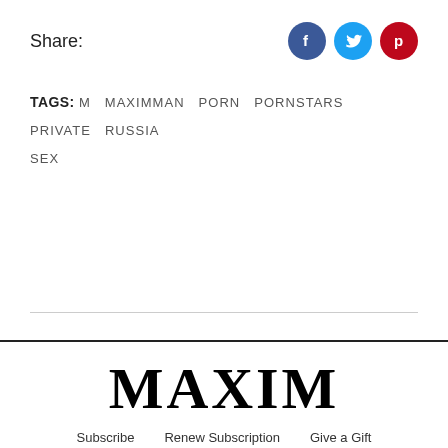Share:
[Figure (other): Social media share icons: Facebook (blue circle with f), Twitter (light blue circle with bird), Pinterest (dark red circle with p)]
TAGS: M  MAXIMMAN  PORN  PORNSTARS  PRIVATE  RUSSIA  SEX
MAXIM
Subscribe   Renew Subscription   Give a Gift